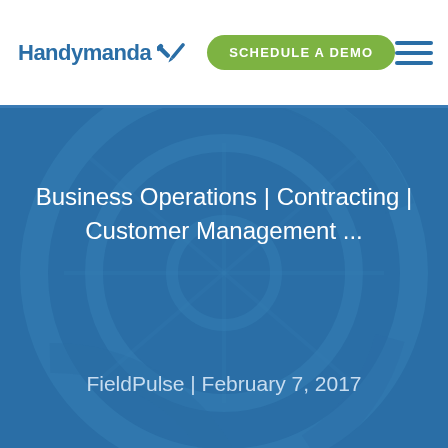[Figure (logo): Handymanda logo with wrench/tools icon and Schedule a Demo button and hamburger menu]
Business Operations | Contracting | Customer Management ...
FieldPulse | February 7, 2017